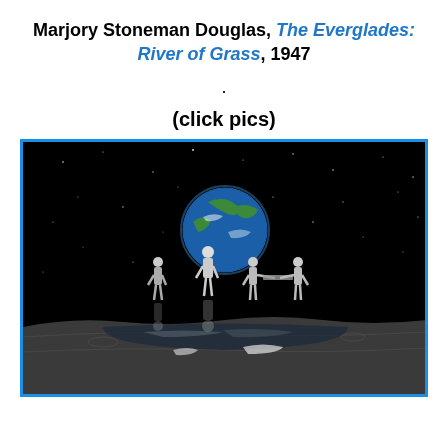Marjory Stoneman Douglas, The Everglades: River of Grass, 1947
.
(click pics)
[Figure (photo): Black and white surreal composite image showing four human figures standing on a moon-like surface with water reflections, looking up at Earth rising above the horizon against a star-filled black sky.]